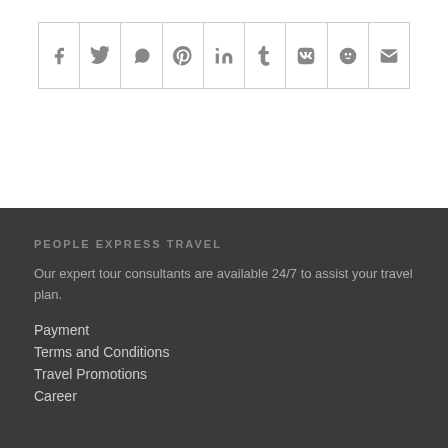[Figure (other): Row of social media sharing icons: Facebook, Twitter, WhatsApp, Pinterest, LinkedIn, Tumblr, VK, Reddit, Email]
PEOPLE EXPRESS TRAVEL
Our expert tour consultants are available 24/7 to assist your travel plan.
Payment
Terms and Conditions
Travel Promotions
Career